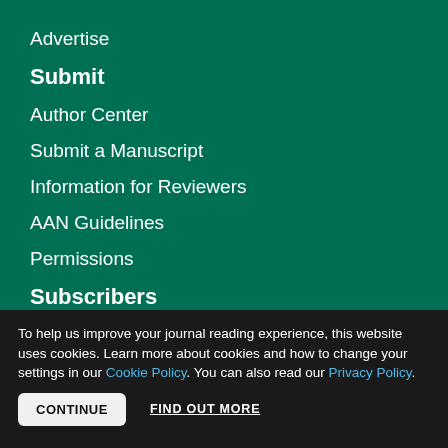Advertise
Submit
Author Center
Submit a Manuscript
Information for Reviewers
AAN Guidelines
Permissions
Subscribers
Subscribe
To help us improve your journal reading experience, this website uses cookies. Learn more about cookies and how to change your settings in our Cookie Policy. You can also read our Privacy Policy.
CONTINUE   FIND OUT MORE